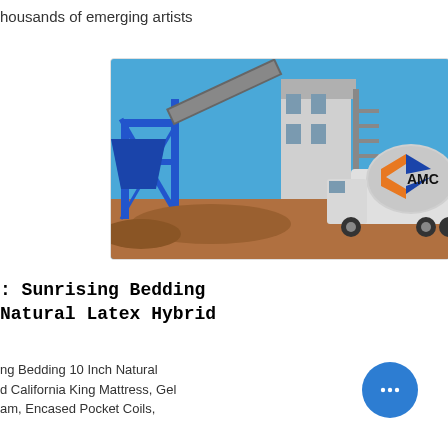housands of emerging artists
[Figure (photo): Construction site with a blue metal framework/batching plant structure and a concrete mixer truck with AMC branding, against a blue sky background.]
: Sunrising Bedding Natural Latex Hybrid
ng Bedding 10 Inch Natural d California King Mattress, Gel am, Encased Pocket Coils,
[Figure (other): Blue circular chat/messaging button with three dots (ellipsis) icon]